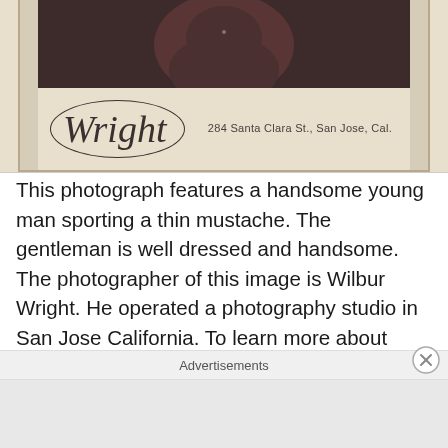[Figure (photo): A vintage carte-de-visite photograph showing the lower portion of a portrait of a young man, with the studio imprint at the bottom. The studio name 'Wright' appears in ornate script inside an oval, and the address '284 Santa Clara St., San Jose, Cal.' appears to the right.]
This photograph features a handsome young man sporting a thin mustache. The gentleman is well dressed and handsome. The photographer of this image is Wilbur Wright. He operated a photography studio in San Jose California. To learn more about Wright and to view more of his photographs, click on the category “Photographer: Wright”
Advertisements